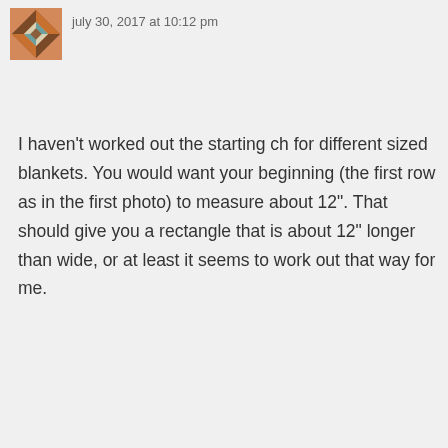[Figure (illustration): User avatar: geometric quilt pattern in orange, brown, teal and white diamond shapes]
july 30, 2017 at 10:12 pm
I haven't worked out the starting ch for different sized blankets. You would want your beginning (the first row as in the first photo) to measure about 12". That should give you a rectangle that is about 12" longer than wide, or at least it seems to work out that way for me.
Like
Reply
Advertisements
[Figure (logo): P2 logo: black square with white inner square outline, followed by bold text P2]
Advertisements
[Figure (photo): Victoria's Secret advertisement with model, VS logo, text SHOP THE COLLECTION and SHOP NOW button on pink gradient background]